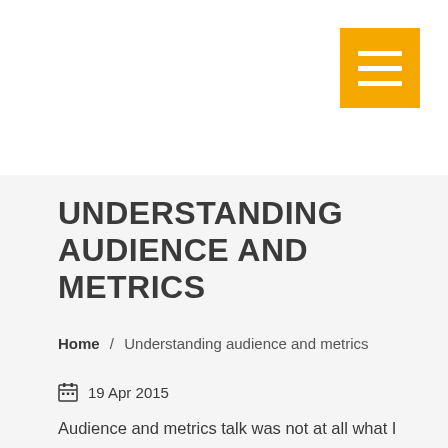UNDERSTANDING AUDIENCE AND METRICS
Home / Understanding audience and metrics
19 Apr 2015
Audience and metrics talk was not at all what I expected in the “Elements” chapter about keeping the news comprehensive and